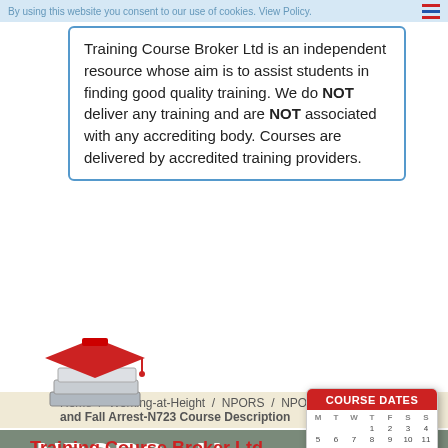By using this website you consent to our use of cookies. View Policy.
Training Course Broker Ltd is an independent resource whose aim is to assist students in finding good quality training. We do NOT deliver any training and are NOT associated with any accrediting body. Courses are delivered by accredited training providers.
[Figure (logo): Stacked books with red graduation cap logo for Training Course Broker Ltd]
Training Course Broker Ltd
Home / Working-at-Height / NPORS / NPORS Harness and Fall Arrest-N723 Course Description
[Figure (illustration): Course Dates calendar popup icon with red header and calendar grid]
NPORS - Harness and Fall Arrest-N723 course syllabus